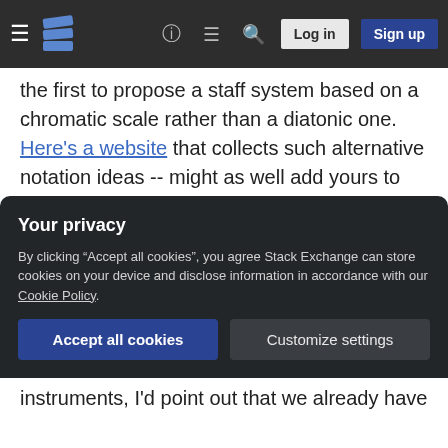Stack Exchange navigation bar with hamburger menu, logo, help, chat, search, Log in, Sign up buttons
the first to propose a staff system based on a chromatic scale rather than a diatonic one. Here's a website that collects such alternative notation ideas -- might as well add yours to the mix. Or see if there's one there that you like better. These systems might seem logical at first, and could even be useful to someone doing atonal music, but for people working in tonal diatonic systems (like 99.99+% of western music) using a notation system that ignores the diatonic scale is likely to prove more difficult. For example, notes that sound adjacent in the scale (or
Your privacy
By clicking "Accept all cookies", you agree Stack Exchange can store cookies on your device and disclose information in accordance with our Cookie Policy.
instruments, I'd point out that we already have a